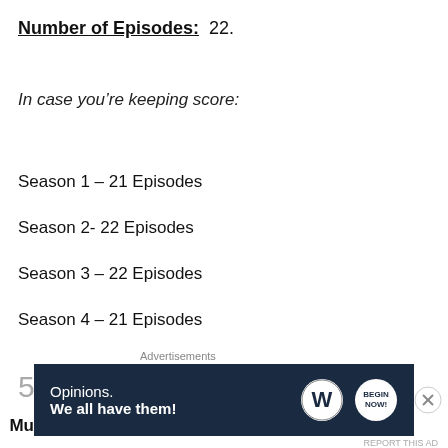Number of Episodes: 22.
In case you’re keeping score:
Season 1 – 21 Episodes
Season 2- 22 Episodes
Season 3 – 22 Episodes
Season 4 – 21 Episodes
5. WHATS?
Music Specials. Tours and Soundtracks: W
[Figure (infographic): Advertisement banner: dark navy background with text 'Opinions. We all have them!' and WordPress and Begin logos, with close button.]